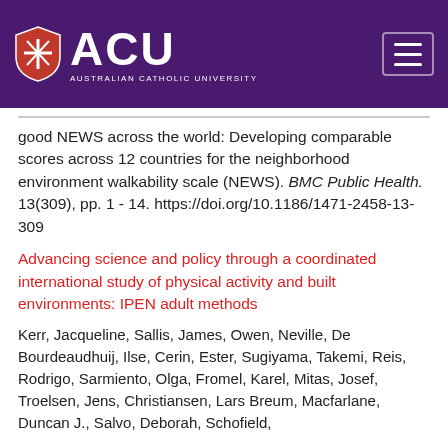[Figure (logo): Australian Catholic University (ACU) logo with shield and text on purple header background]
good NEWS across the world: Developing comparable scores across 12 countries for the neighborhood environment walkability scale (NEWS). BMC Public Health. 13(309), pp. 1 - 14. https://doi.org/10.1186/1471-2458-13-309
Advancing science and policy through a coordinated international study of physical activity and built environments: IPEN adult methods
Kerr, Jacqueline, Sallis, James, Owen, Neville, De Bourdeaudhuij, Ilse, Cerin, Ester, Sugiyama, Takemi, Reis, Rodrigo, Sarmiento, Olga, Fromel, Karel, Mitas, Josef, Troelsen, Jens, Christiansen, Lars Breum, Macfarlane, Duncan J., Salvo, Deborah, Schofield,